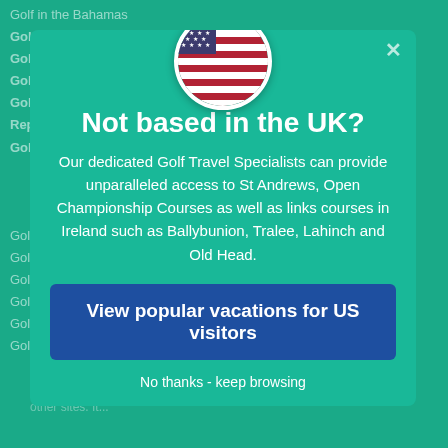Golf in the Bahamas
Golf in Barbados
Golf in Bermuda
Golf in Costa Rica
Golf in the Dominican Republic
Golf in Jamaica
Golf in Puerto Rico
Golf in Mexico
Golf in St Kitts
Golf in St Lucia
Golf in St Somewhere
Golf in Trinidad
[Figure (illustration): US flag circle badge at top of modal]
Not based in the UK?
Our dedicated Golf Travel Specialists can provide unparalleled access to St Andrews, Open Championship Courses as well as links courses in Ireland such as Ballybunion, Tralee, Lahinch and Old Head.
View popular vacations for US visitors
No thanks - keep browsing